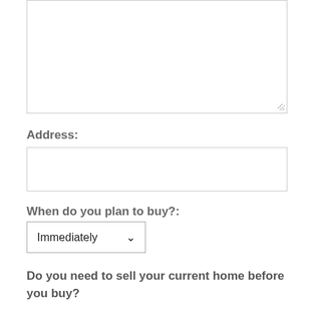[Figure (other): Empty textarea input field (text entry box with resize handle)]
Address:
[Figure (other): Address input text area box]
When do you plan to buy?:
[Figure (other): Dropdown select box showing 'Immediately' with chevron arrow]
Do you need to sell your current home before you buy?